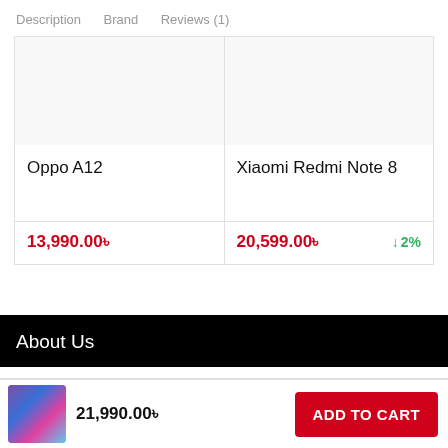Description   Brand   Reviews (1)
Oppo A12
13,990.00৳
Xiaomi Redmi Note 8
20,599.00৳   ↓ 2%
About Us
21,990.00৳
ADD TO CART